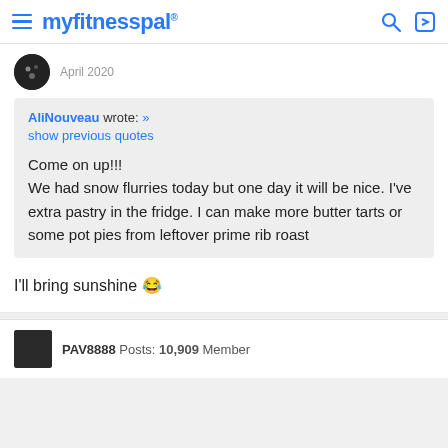myfitnesspal
April 2020
AliNouveau wrote: »
show previous quotes

Come on up!!!
We had snow flurries today but one day it will be nice. I've extra pastry in the fridge. I can make more butter tarts or some pot pies from leftover prime rib roast
I'll bring sunshine 😂
PAV8888  Posts: 10,909  Member